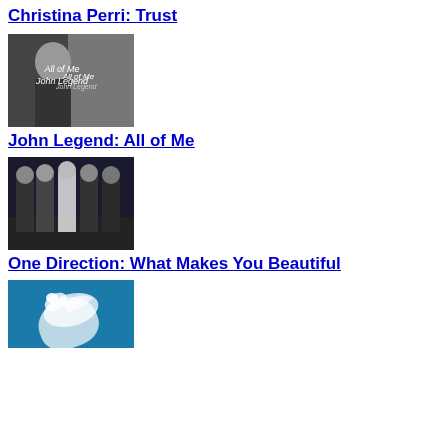Christina Perri: Trust
[Figure (photo): Black and white photo of John Legend for 'All of Me' single cover]
John Legend: All of Me
[Figure (photo): Group photo of One Direction band members in dark clothing]
One Direction: What Makes You Beautiful
[Figure (photo): Album cover with a white dove on teal/blue background]